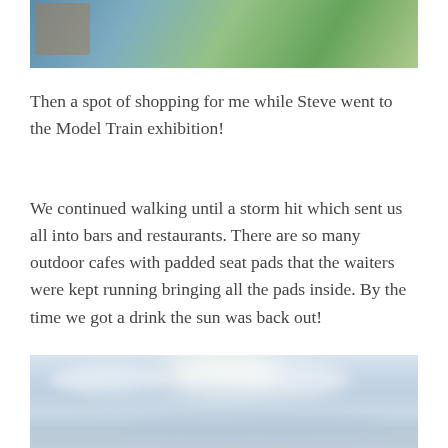[Figure (photo): Partial view of outdoor scene with people, blue railings, and green hedges/garden area]
Then a spot of shopping for me while Steve went to the Model Train exhibition!
We continued walking until a storm hit which sent us all into bars and restaurants. There are so many outdoor cafes with padded seat pads that the waiters were kept running bringing all the pads inside. By the time we got a drink the sun was back out!
[Figure (photo): Overcast sky with grey-blue clouds and a bright patch suggesting sunlight breaking through]